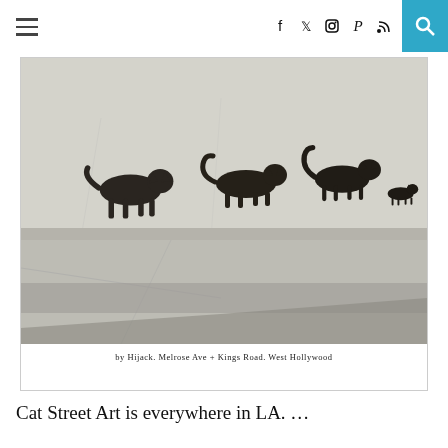Navigation and social icons: hamburger menu, Facebook, Twitter, Instagram, Pinterest, RSS, Search
[Figure (photo): Street art photo showing silhouettes of cats walking along a wall ledge above a sidewalk, with shadows cast on the pavement below. Artwork by Hijack, located at Melrose Ave + Kings Road, West Hollywood.]
by Hijack. Melrose Ave + Kings Road. West Hollywood
Cat Street Art is everywhere in LA. …